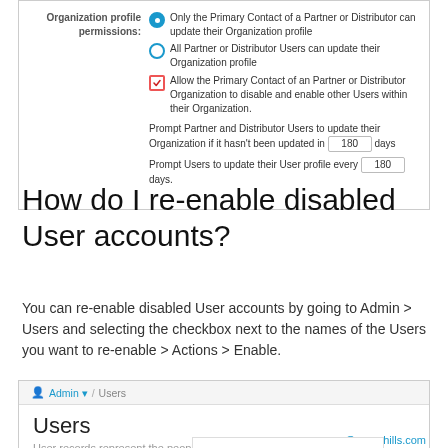[Figure (screenshot): Settings panel showing Organization profile permissions with radio buttons and checkboxes, and prompt days input boxes showing 180 days]
How do I re-enable disabled User accounts?
You can re-enable disabled User accounts by going to Admin > Users and selecting the checkbox next to the names of the Users you want to re-enable > Actions > Enable.
[Figure (screenshot): Users admin screen showing breadcrumb Admin / Users, Users heading, New and Actions buttons with a dropdown menu showing Replace Group Membership, Add to Group, Remove from Group options, and Amber row with sugarhills.com email]